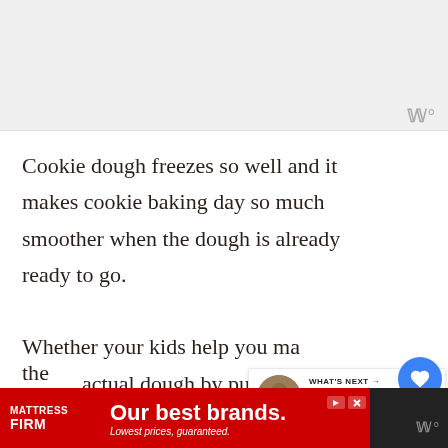[Figure (photo): Gray/white image area at top of page representing a cropped photo]
Cookie dough freezes so well and it makes cookie baking day so much smoother when the dough is already ready to go.
[Figure (infographic): WHAT'S NEXT overlay with thumbnail: The Best Faux Greenery for...]
Whether your kids help you make the actual dough by putting ingredients in the
[Figure (screenshot): Mattress Firm advertisement bar at the bottom: 'Our best brands. Lowest prices, guaranteed.']